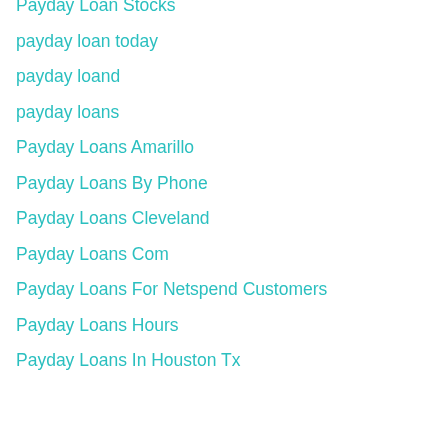Payday Loan Stocks
payday loan today
payday loand
payday loans
Payday Loans Amarillo
Payday Loans By Phone
Payday Loans Cleveland
Payday Loans Com
Payday Loans For Netspend Customers
Payday Loans Hours
Payday Loans In Houston Tx